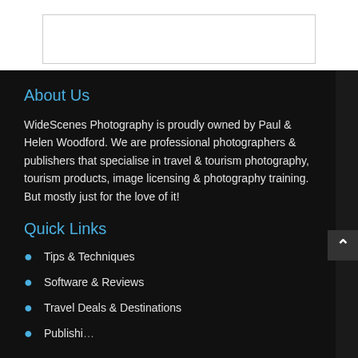[Figure (other): White rectangular image placeholder box with border]
About Us
WideScenes Photography is proudly owned by Paul & Helen Woodford. We are professional photographers & publishers that specialise in travel & tourism photography, tourism products, image licensing & photography training. But mostly just for the love of it!
Quick Links
Tips & Techniques
Software & Reviews
Travel Deals & Destinations
Publishing…